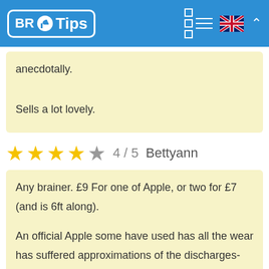BR Tips
anecdotally.

Sells a lot lovely.
4 / 5  Bettyann
Any brainer. £9 For one of Apple, or two for £7 (and is 6ft along).

An official Apple some have used has all the wear has suffered approximations of the discharges-refinados where a jacket finally breaks to expose